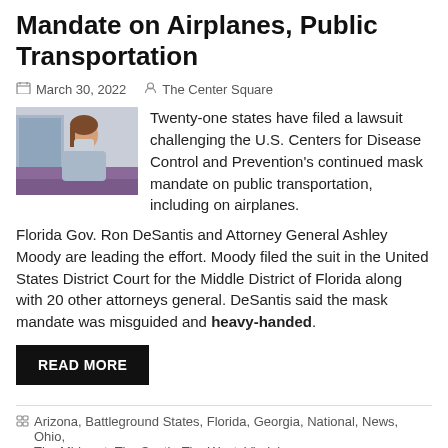Mandate on Airplanes, Public Transportation
March 30, 2022   The Center Square
[Figure (photo): Person wearing a mask on public transportation, seated near window with purple seat visible]
Twenty-one states have filed a lawsuit challenging the U.S. Centers for Disease Control and Prevention's continued mask mandate on public transportation, including on airplanes.
Florida Gov. Ron DeSantis and Attorney General Ashley Moody are leading the effort. Moody filed the suit in the United States District Court for the Middle District of Florida along with 20 other attorneys general. DeSantis said the mask mandate was misguided and heavy-handed.
READ MORE
Arizona, Battleground States, Florida, Georgia, National, News, Ohio, The Midwest, The South, The West, Virginia
Alabama, Alaska, Arizona, Arkansas, Ashley Moody, COVID-19, Florida